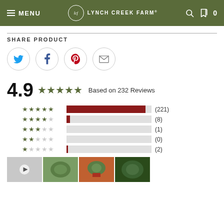MENU | LCF LYNCH CREEK FARM | 0
SHARE PRODUCT
[Figure (infographic): Four social share buttons in circles: Twitter (blue bird), Facebook (blue f), Pinterest (red P), Email (envelope)]
4.9 ★★★★★ Based on 232 Reviews
[Figure (bar-chart): Review Distribution]
[Figure (photo): Four product thumbnail photos at the bottom: a video thumbnail with play button, and three wreath/plant arrangement photos]